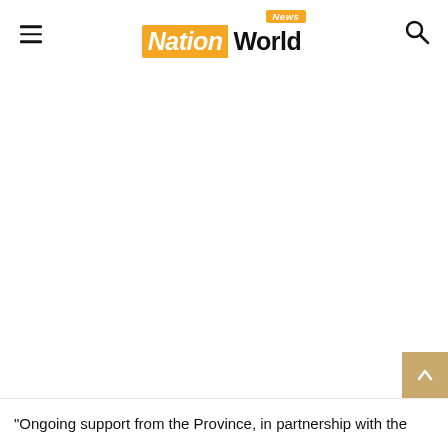News Nation World
"Ongoing support from the Province, in partnership with the